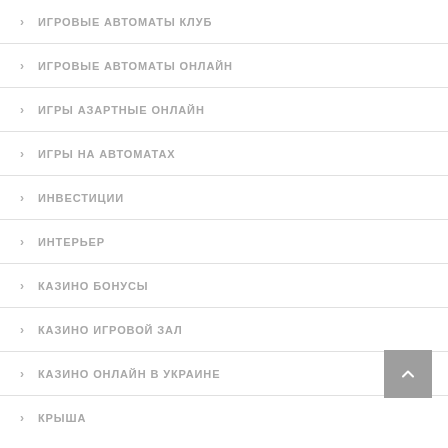ИГРОВЫЕ АВТОМАТЫ КЛУБ
ИГРОВЫЕ АВТОМАТЫ ОНЛАЙН
ИГРЫ АЗАРТНЫЕ ОНЛАЙН
ИГРЫ НА АВТОМАТАХ
ИНВЕСТИЦИИ
ИНТЕРЬЕР
КАЗИНО БОНУСЫ
КАЗИНО ИГРОВОЙ ЗАЛ
КАЗИНО ОНЛАЙН В УКРАИНЕ
КРЫША